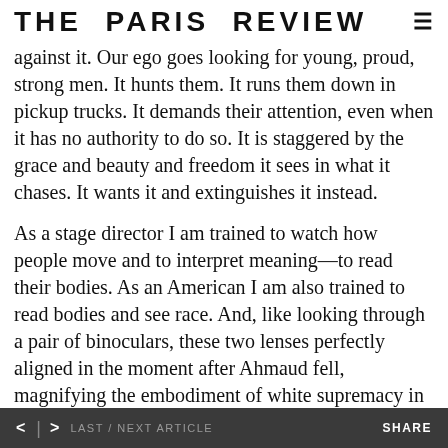THE PARIS REVIEW
against it. Our ego goes looking for young, proud, strong men. It hunts them. It runs them down in pickup trucks. It demands their attention, even when it has no authority to do so. It is staggered by the grace and beauty and freedom it sees in what it chases. It wants it and extinguishes it instead.
As a stage director I am trained to watch how people move and to interpret meaning—to read their bodies. As an American I am also trained to read bodies and see race. And, like looking through a pair of binoculars, these two lenses perfectly aligned in the moment after Ahmaud fell, magnifying the embodiment of white supremacy in his murderer. The way that man bore up. The way he turned and walked back to his truck, to his
< > LAST / NEXT ARTICLE    SHARE